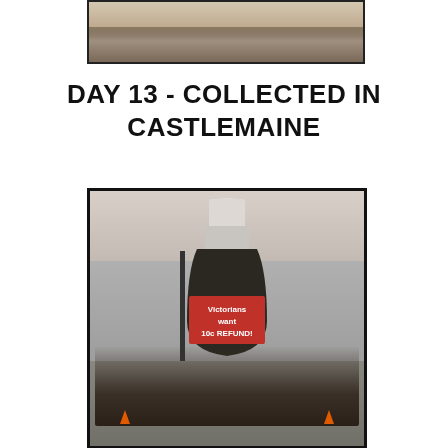[Figure (photo): Partial photo at top of page showing a crowd of people gathered outdoors, with a dog visible, appears to be at a community event or rally]
DAY 13 - COLLECTED IN CASTLEMAINE
[Figure (photo): Photo of group of people standing in front of a large inflatable bottle with a red label reading 'Victorians want 10c REFUND!' on a street in Castlemaine, with storefronts visible in the background]